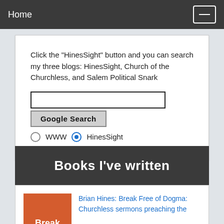Home
Click the "HinesSight" button and you can search my three blogs: HinesSight, Church of the Churchless, and Salem Political Snark
[Figure (screenshot): Search widget with text input box, Google Search button, and radio buttons for WWW and HinesSight (HinesSight selected)]
Books I've written
Brian Hines: Break Free of Dogma: Churchless sermons preaching the